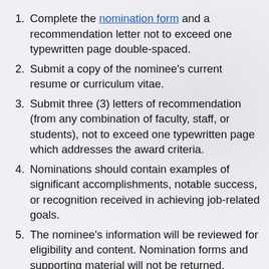Complete the nomination form and a recommendation letter not to exceed one typewritten page double-spaced.
Submit a copy of the nominee's current resume or curriculum vitae.
Submit three (3) letters of recommendation (from any combination of faculty, staff, or students), not to exceed one typewritten page which addresses the award criteria.
Nominations should contain examples of significant accomplishments, notable success, or recognition received in achieving job-related goals.
The nominee's information will be reviewed for eligibility and content. Nomination forms and supporting material will not be returned.
All nominations are kept strictly confidential